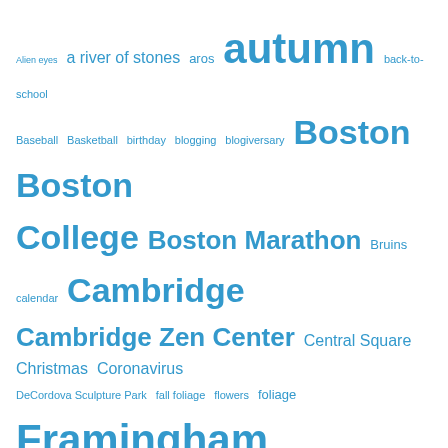[Figure (other): A tag cloud with various blog-related tags in different font sizes, all in blue. Tags include: Alien eyes, a river of stones, aros, autumn, back-to-school, Baseball, Basketball, birthday, blogging, blogiversary, Boston, Boston College, Boston Marathon, Bruins, calendar, Cambridge, Cambridge Zen Center, Central Square, Christmas, Coronavirus, DeCordova Sculpture Park, fall foliage, flowers, foliage, Framingham State University, frost, Goose Pond, grading, graffiti, Halloween, Henry David Thoreau, Hockey, ice, impermanence, journaling, Keene, Keene State College, labyrinth, leaves, lost and found, Massachusetts, meditation, Modica Way, Mount Auburn Cemetery, Museum of Fine Arts, NaBloPoMo, New Hampshire, Newton, nu, New & Zen, Photo Friday, and more.]